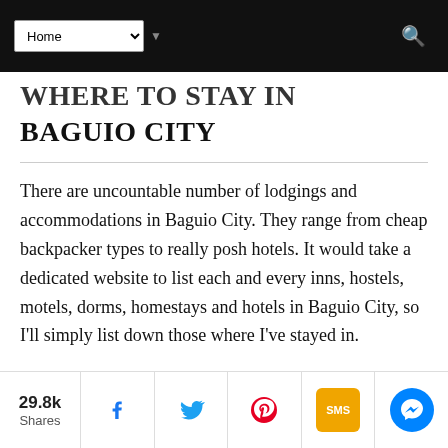Home (navigation bar with search icon)
WHERE TO STAY IN BAGUIO CITY
There are uncountable number of lodgings and accommodations in Baguio City. They range from cheap backpacker types to really posh hotels. It would take a dedicated website to list each and every inns, hostels, motels, dorms, homestays and hotels in Baguio City, so I'll simply list down those where I've stayed in.
29.8k Shares | Facebook | Twitter | Pinterest | SMS | Messenger